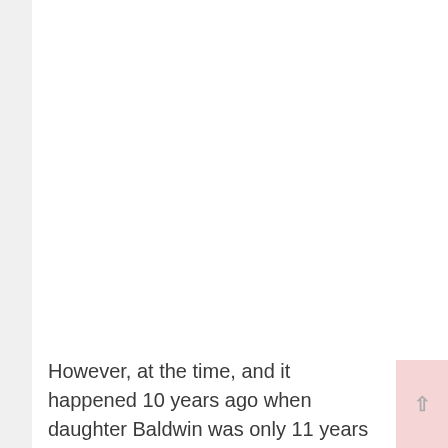However, at the time, and it happened 10 years ago when daughter Baldwin was only 11 years old...